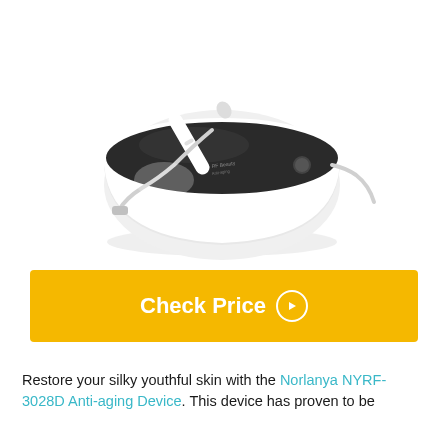[Figure (photo): White bowl-shaped anti-aging device (Norlanya NYRF-3028D) with black top panel and a white handheld wand/probe resting on top, connected by a cable]
Check Price ▶
Restore your silky youthful skin with the Norlanya NYRF-3028D Anti-aging Device. This device has proven to be